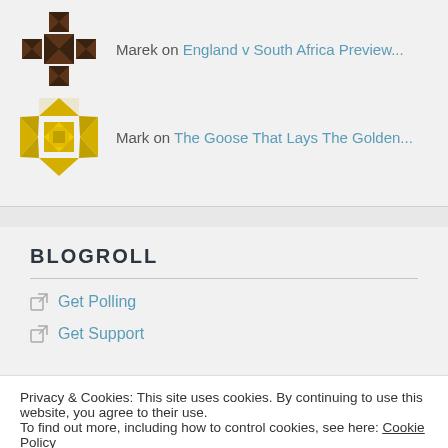Marek on England v South Africa Preview...
Mark on The Goose That Lays The Golden...
BLOGROLL
Get Polling
Get Support
Privacy & Cookies: This site uses cookies. By continuing to use this website, you agree to their use.
To find out more, including how to control cookies, see here: Cookie Policy
Close and accept